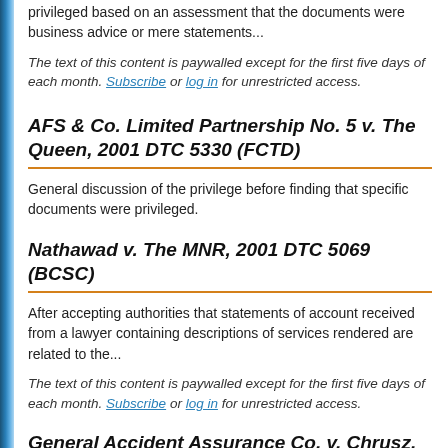privileged based on an assessment that the documents were business advice or mere statements...
The text of this content is paywalled except for the first five days of each month. Subscribe or log in for unrestricted access.
AFS & Co. Limited Partnership No. 5 v. The Queen, 2001 DTC 5330 (FCTD)
General discussion of the privilege before finding that specific documents were privileged.
Nathawad v. The MNR, 2001 DTC 5069 (BCSC)
After accepting authorities that statements of account received from a lawyer containing descriptions of services rendered are related to the...
The text of this content is paywalled except for the first five days of each month. Subscribe or log in for unrestricted access.
General Accident Assurance Co. v. Chrusz,